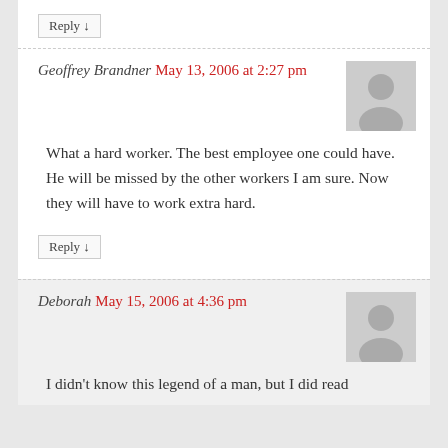Reply ↓
Geoffrey Brandner May 13, 2006 at 2:27 pm
What a hard worker. The best employee one could have. He will be missed by the other workers I am sure. Now they will have to work extra hard.
Reply ↓
Deborah May 15, 2006 at 4:36 pm
I didn't know this legend of a man, but I did read